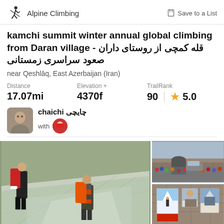Alpine Climbing
kamchi summit winter annual global climbing from Daran village - قله کمچی از روستای داران صعود سراسری زمستانی
near Qeshlāq, East Azerbaijan (Iran)
Distance 17.07mi | Elevation + 4370f | TrailRank 90 ★ 5.0
chaichi چایچی with [avatar]
[Figure (photo): Two climbers on a snowy/icy mountain slope, one wearing black with a large red backpack, one in a striped jacket with orange pack]
[Figure (photo): Group of climbers gathered near a stone building]
[Figure (photo): Memorial display with photos and posters against a stone wall]